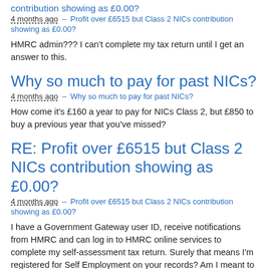contribution showing as £0.00?
4 months ago – Profit over £6515 but Class 2 NICs contribution showing as £0.00?
HMRC admin??? I can't complete my tax return until I get an answer to this.
Why so much to pay for past NICs?
4 months ago – Why so much to pay for past NICs?
How come it's £160 a year to pay for NICs Class 2, but £850 to buy a previous year that you've missed?
RE: Profit over £6515 but Class 2 NICs contribution showing as £0.00?
4 months ago – Profit over £6515 but Class 2 NICs contribution showing as £0.00?
I have a Government Gateway user ID, receive notifications from HMRC and can log in to HMRC online services to complete my self-assessment tax return. Surely that means I'm registered for Self Employment on your records? Am I meant to register separately for NICs? Thanks.
RE: Profit over £6515 but Class 2 NICs